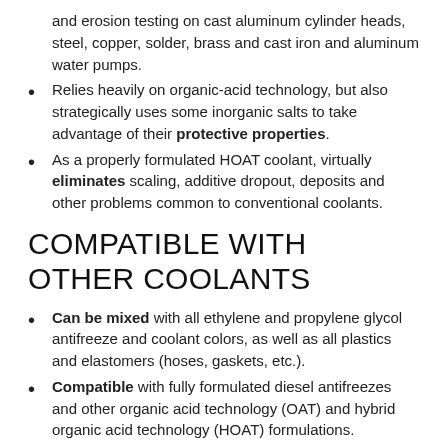and erosion testing on cast aluminum cylinder heads, steel, copper, solder, brass and cast iron and aluminum water pumps.
Relies heavily on organic-acid technology, but also strategically uses some inorganic salts to take advantage of their protective properties.
As a properly formulated HOAT coolant, virtually eliminates scaling, additive dropout, deposits and other problems common to conventional coolants.
COMPATIBLE WITH OTHER COOLANTS
Can be mixed with all ethylene and propylene glycol antifreeze and coolant colors, as well as all plastics and elastomers (hoses, gaskets, etc.).
Compatible with fully formulated diesel antifreezes and other organic acid technology (OAT) and hybrid organic acid technology (HOAT) formulations.
SEE THE DATA SHEET FOR DETAILS